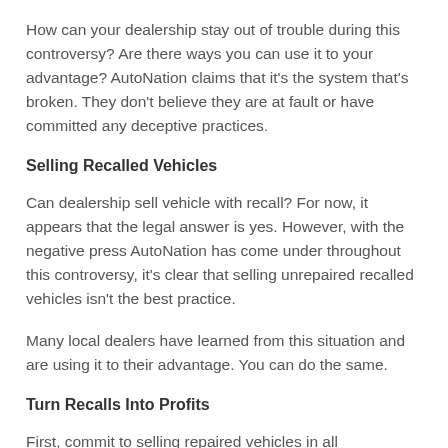How can your dealership stay out of trouble during this controversy? Are there ways you can use it to your advantage? AutoNation claims that it's the system that's broken. They don't believe they are at fault or have committed any deceptive practices.
Selling Recalled Vehicles
Can dealership sell vehicle with recall? For now, it appears that the legal answer is yes. However, with the negative press AutoNation has come under throughout this controversy, it's clear that selling unrepaired recalled vehicles isn't the best practice.
Many local dealers have learned from this situation and are using it to their advantage. You can do the same.
Turn Recalls Into Profits
First, commit to selling repaired vehicles in all